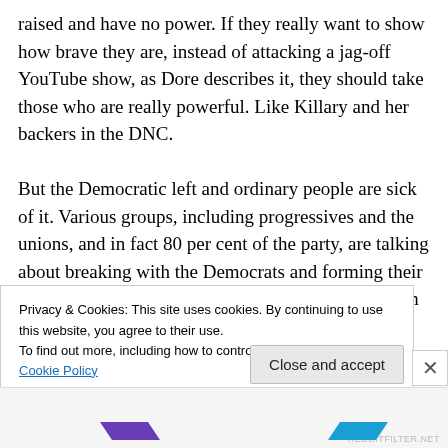raised and have no power. If they really want to show how brave they are, instead of attacking a jag-off YouTube show, as Dore describes it, they should take those who are really powerful. Like Killary and her backers in the DNC.

But the Democratic left and ordinary people are sick of it. Various groups, including progressives and the unions, and in fact 80 per cent of the party, are talking about breaking with the Democrats and forming their own. He urges Bernie Sanders to join them and form a third party,
Privacy & Cookies: This site uses cookies. By continuing to use this website, you agree to their use.
To find out more, including how to control cookies, see here: Cookie Policy